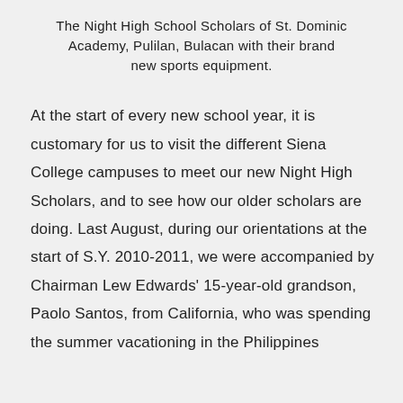The Night High School Scholars of St. Dominic Academy, Pulilan, Bulacan with their brand new sports equipment.
At the start of every new school year, it is customary for us to visit the different Siena College campuses to meet our new Night High Scholars, and to see how our older scholars are doing. Last August, during our orientations at the start of S.Y. 2010-2011, we were accompanied by Chairman Lew Edwards' 15-year-old grandson, Paolo Santos, from California, who was spending the summer vacationing in the Philippines